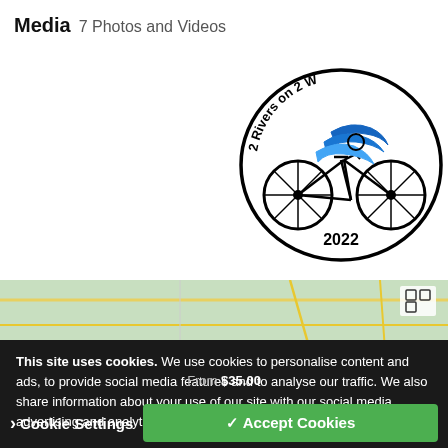Media  7 Photos and Videos
[Figure (logo): Oval logo for '2 Rivers on 2 Wheels' bicycle event 2022, showing a cyclist silhouette with blue water/river graphic, black oval border, text '2 Rivers on 2 W...' at top and '2022' at bottom]
[Figure (map): Background map strip showing roads on green/teal background]
This site uses cookies. We use cookies to personalise content and ads, to provide social media features and to analyse our traffic. We also share information about your use of our site with our social media, advertising and analytics partners. More Information
From $35.00
Cookie Settings
✓ Accept Cookies